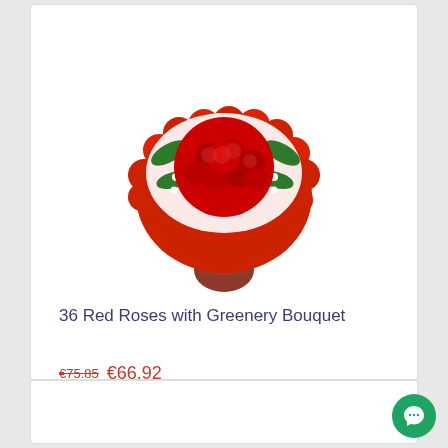[Figure (photo): A bouquet of 36 red roses wrapped in red tissue paper with white baby's breath flowers and a decorative red ribbon bow at the base.]
36 Red Roses with Greenery Bouquet
€75.85  €66.92